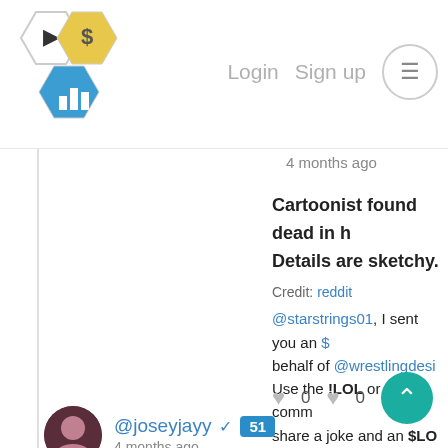Login  Sign up
[Figure (logo): Hive/crypto platform logo with three hexagons: cursor, dollar sign, bar chart]
4 months ago
Cartoonist found dead in h... Details are sketchy.
Credit: reddit @starstrings01, I sent you an $... behalf of @wrestlingdesi... Use the !LOL or !LOLZ comm... share a joke and an $LO... Delegate Hive Tokens to Farm... and earn 110% Rewa... (2/6)
0  0  Reply
@joseyjayy ✓ 51
4 months ago